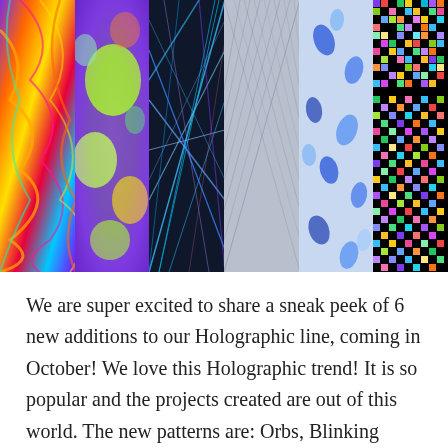[Figure (illustration): A horizontal strip of 6 colorful holographic texture panels side by side: Oil Slick (swirling rainbow colors), Magma (neon green/yellow blobs on purple/blue), Birds Nest (blue fiber tangle), Linen (silver gray crosshatch), Orbs (blue holographic leaf shapes), Blinking Blocks (colorful pixel mosaic on black)]
We are super excited to share a sneak peek of 6 new additions to our Holographic line, coming in October! We love this Holographic trend! It is so popular and the projects created are out of this world. The new patterns are: Orbs, Blinking Blocks, Birds Nest, Magma, Oil Slick and Linen. These